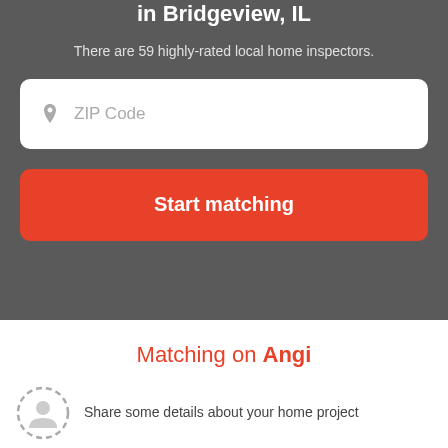Get matched with top home inspectors in Bridgeview, IL
There are 59 highly-rated local home inspectors.
ZIP Code
Start matching
Matching on Angi
Share some details about your home project